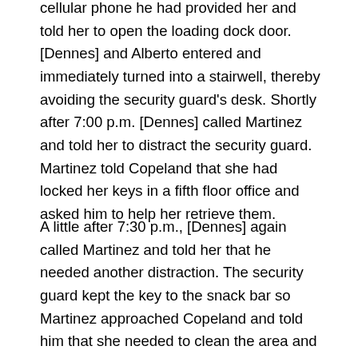cellular phone he had provided her and told her to open the loading dock door. [Dennes] and Alberto entered and immediately turned into a stairwell, thereby avoiding the security guard's desk. Shortly after 7:00 p.m. [Dennes] called Martinez and told her to distract the security guard. Martinez told Copeland that she had locked her keys in a fifth floor office and asked him to help her retrieve them.

A little after 7:30 p.m., [Dennes] again called Martinez and told her that he needed another distraction. The security guard kept the key to the snack bar so Martinez approached Copeland and told him that she needed to clean the area and asked if he would let her in. Shortly after Martinez began cleaning, however, the owner of the snack bar arrived and told her to come back later.When Copeland returned to the lobby, he found a